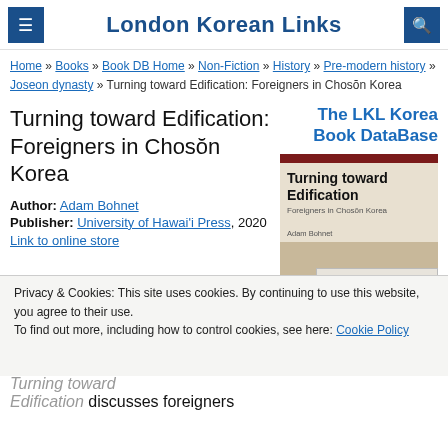London Korean Links
Home » Books » Book DB Home » Non-Fiction » History » Pre-modern history » Joseon dynasty » Turning toward Edification: Foreigners in Chosŏn Korea
Turning toward Edification: Foreigners in Chosŏn Korea
The LKL Korea Book DataBase
Author: Adam Bohnet
Publisher: University of Hawai'i Press, 2020
Link to online store
[Figure (illustration): Book cover for Turning toward Edification: Foreigners in Chosŏn Korea by Adam Bohnet, University of Hawaii Press]
Privacy & Cookies: This site uses cookies. By continuing to use this website, you agree to their use. To find out more, including how to control cookies, see here: Cookie Policy
From the publisher's website:
Turning toward Edification discusses foreigners